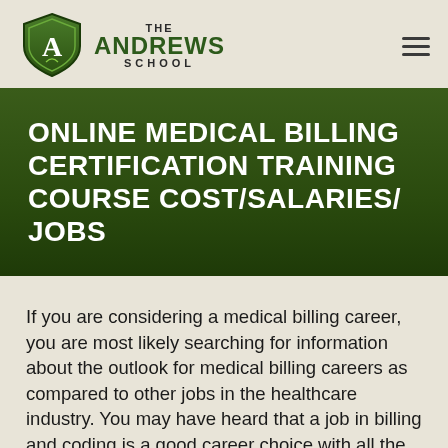[Figure (logo): The Andrews School shield logo with green background and letter A]
THE ANDREWS SCHOOL
ONLINE MEDICAL BILLING CERTIFICATION TRAINING COURSE COST/SALARIES/ JOBS
If you are considering a medical billing career, you are most likely searching for information about the outlook for medical billing careers as compared to other jobs in the healthcare industry. You may have heard that a job in billing and coding is a good career choice with all the changes in health insurance memberships. Before you